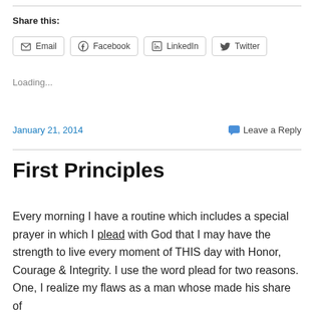Share this:
Email   Facebook   LinkedIn   Twitter
Loading...
January 21, 2014     Leave a Reply
First Principles
Every morning I have a routine which includes a special prayer in which I plead with God that I may have the strength to live every moment of THIS day with Honor, Courage & Integrity. I use the word plead for two reasons. One, I realize my flaws as a man whose made his share of